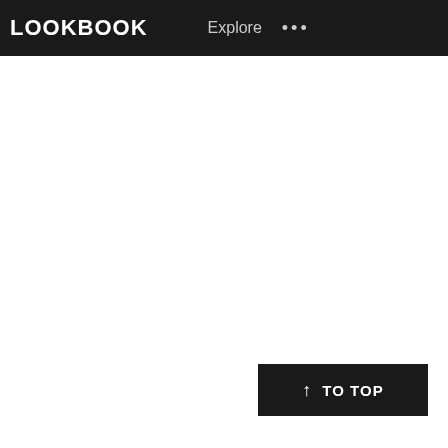LOOKBOOK   Explore   ...
TO TOP